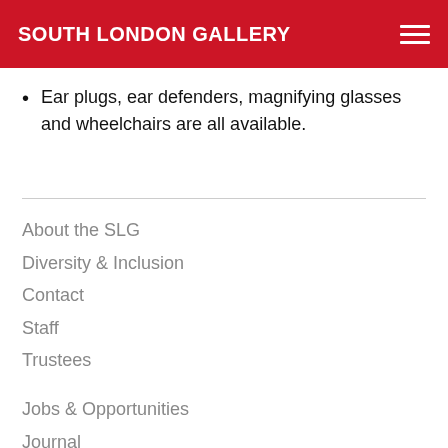SOUTH LONDON GALLERY
Ear plugs, ear defenders, magnifying glasses and wheelchairs are all available.
About the SLG
Diversity & Inclusion
Contact
Staff
Trustees
Jobs & Opportunities
Journal
Press